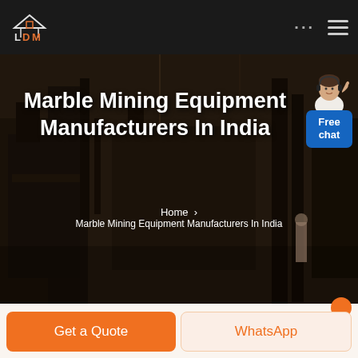[Figure (screenshot): Navigation bar with LDM logo on the left, three dots menu and hamburger menu on the right, on a dark background.]
[Figure (photo): Industrial factory/mining equipment facility interior, dark and moody, with heavy machinery, scaffolding, and industrial structures visible.]
Marble Mining Equipment Manufacturers In India
Home > Marble Mining Equipment Manufacturers In India
[Figure (illustration): Customer support representative with headset, shown as a small figure beside a blue 'Free chat' button widget.]
Get a Quote
WhatsApp